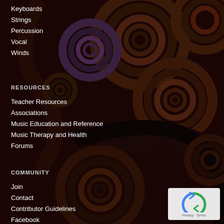Keyboards
Strings
Percussion
Vocal
Winds
RESOURCES
Teacher Resources
Associations
Music Education and Reference
Music Therapy and Health
Forums
COMMUNITY
Join
Contact
Contributor Guidelines
Facebook
[Figure (other): reCAPTCHA widget with Privacy and Terms links]